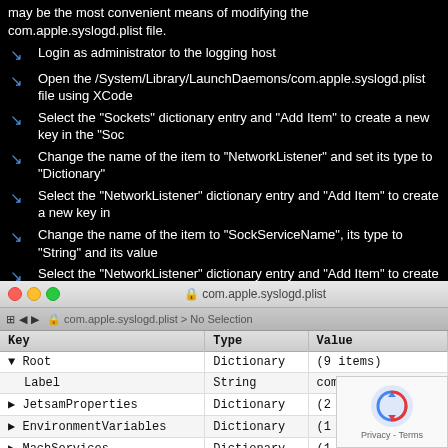may be the most convenient means of modifying the com.apple.syslogd.plist file.
Login as administrator to the logging host
Open the /System/Library/LaunchDaemons/com.apple.syslogd.plist file using XCode
Select the “Sockets” dictionary entry and “Add Item” to create a new key in the “Soc
Change the name of the item to “NetworkListener” and set its type to “Dictionary”
Select the “NetworkListener” dictionary entry and “Add Item” to create a new key in
Change the name of the item to “SockServiceName”, its type to “String” and its value
Select the “NetworkListener” dictionary entry and “Add Item” to create another new key in the dictionary
Change the name of the item to “SockType”, its type to “String”, and its value to “dg
Save the file and quit XCode. The property list should resemble the following example
[Figure (screenshot): XCode property list editor showing com.apple.syslogd.plist with Root dictionary containing Label (String, com.apple.syslogd), JetsamProperties (Dictionary, 2 items), EnvironmentVariables (Dictionary, 1 item), MachServices (Dictionary, 1 item), EnableTransactions (Boolean, YES), ProgramArguments (Array, 1 item), Sockets (Dictionary, 3 items)]